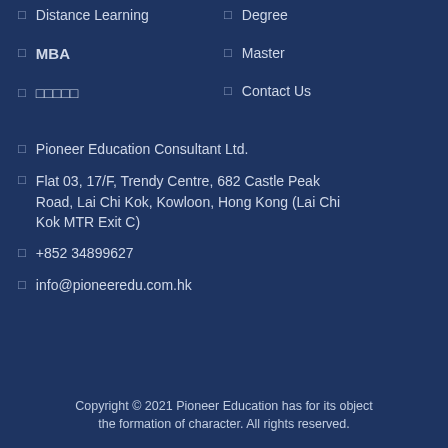Distance Learning
Degree
MBA
Master
□□□□□
Contact Us
Pioneer Education Consultant Ltd.
Flat 03, 17/F, Trendy Centre, 682 Castle Peak Road, Lai Chi Kok, Kowloon, Hong Kong (Lai Chi Kok MTR Exit C)
+852 34899627
info@pioneeredu.com.hk
Copyright © 2021 Pioneer Education has for its object the formation of character. All rights reserved.